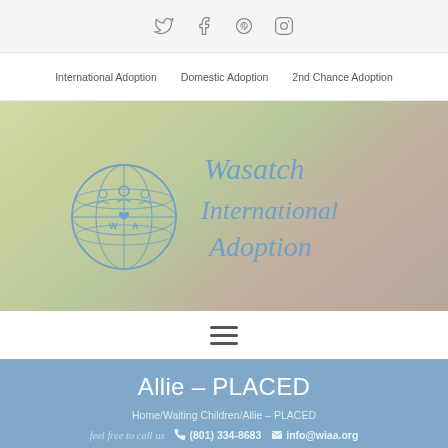Social media icons: Twitter, Facebook, Pinterest, Instagram
International Adoption | Domestic Adoption | 2nd Chance Adoption
[Figure (logo): Wasatch International Adoption logo — globe with figures and WIA letters, with cursive text 'Wasatch International Adoption']
[Figure (other): Hamburger menu icon (three horizontal lines)]
Allie – PLACED
Home/Waiting Children/Allie – PLACED
feel free to call us  (801) 334-8683  info@wiaa.org